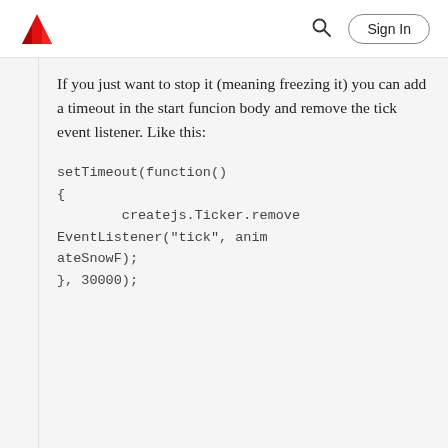Adobe | Sign In
If you just want to stop it (meaning freezing it) you can add a timeout in the start funcion body and remove the tick event listener. Like this: